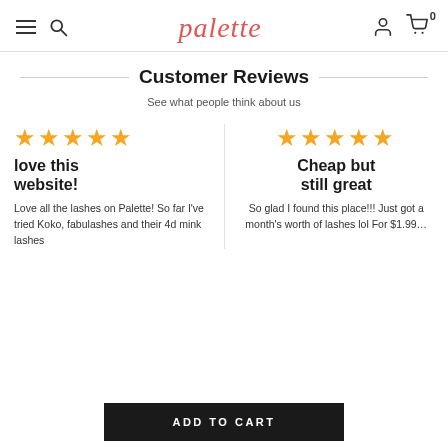palette — navigation header with menu, search, user, cart
Customer Reviews
See what people think about us
★★★★★ love this website!
Love all the lashes on Palette! So far I've tried Koko, fabulashes and their 4d mink lashes…
★★★★★ Cheap but still great
So glad I found this place!!! Just got a month's worth of lashes lol For $1.99…